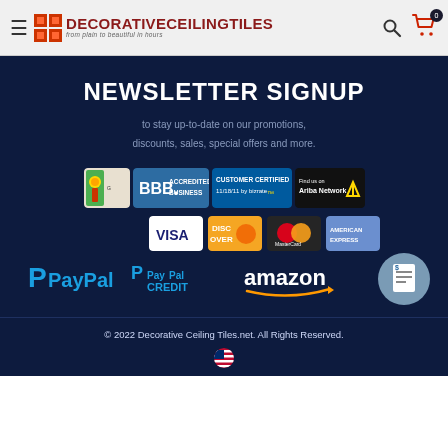DecorativeCeilingTiles — from plain to beautiful in hours
NEWSLETTER SIGNUP
to stay up-to-date on our promotions, discounts, sales, special offers and more.
[Figure (logo): Trust badges row: Google local guide icon, BBB Accredited Business, Customer Certified 11/18/11 by bizrate, Find us on Ariba Network]
[Figure (logo): Payment method logos: Visa, Discover, MasterCard, American Express credit cards]
[Figure (logo): PayPal, PayPal Credit, Amazon payment logos]
© 2022 Decorative Ceiling Tiles.net. All Rights Reserved.